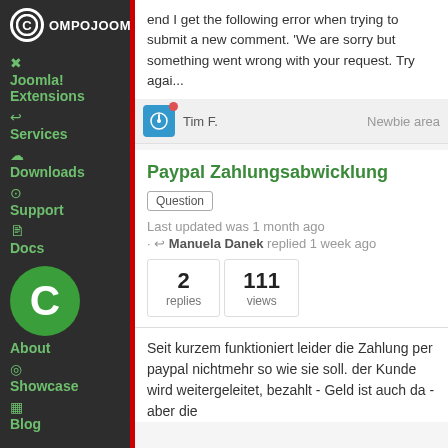[Figure (logo): Compojoom logo with circular C icon and white text on dark sidebar]
Joomla! Extensions
Services
Downloads
Support
Docs
About
Showcase
Blog
end I get the following error when trying to submit a new comment. 'We are sorry but something went wrong with your request. Try agai...
Tim F.   Newbie area
Paypal Zahlungsabwicklung
Question
Last updated was 1 month ago
· Manuela Danek replied 1 week ago
2 replies   111 views
Seit kurzem funktioniert leider die Zahlung per paypal nichtmehr so wie sie soll. der Kunde wird weitergeleitet, bezahlt - Geld ist auch da - aber die